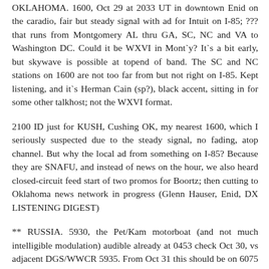OKLAHOMA. 1600, Oct 29 at 2033 UT in downtown Enid on the caradio, fair but steady signal with ad for Intuit on I-85; ??? that runs from Montgomery AL thru GA, SC, NC and VA to Washington DC. Could it be WXVI in Mont`y? It`s a bit early, but skywave is possible at topend of band. The SC and NC stations on 1600 are not too far from but not right on I-85. Kept listening, and it`s Herman Cain (sp?), black accent, sitting in for some other talkhost; not the WXVI format.
2100 ID just for KUSH, Cushing OK, my nearest 1600, which I seriously suspected due to the steady signal, no fading, atop channel. But why the local ad from something on I-85? Because they are SNAFU, and instead of news on the hour, we also heard closed-circuit feed start of two promos for Boortz; then cutting to Oklahoma news network in progress (Glenn Hauser, Enid, DX LISTENING DIGEST)
** RUSSIA. 5930, the Pet/Kam motorboat (and not much intelligible modulation) audible already at 0453 check Oct 30, vs adjacent DGS/WWCR 5935. From Oct 31 this should be on 6075 instead, and until 1400*. And will the 8GAL CW marker on 6074 also be back at 1400-1401v? (Glenn Hauser, OK, DX LISTENING DIGEST)
** SOUTH CAROLINA [non]. WWRB keeps losing Brother Scare, just